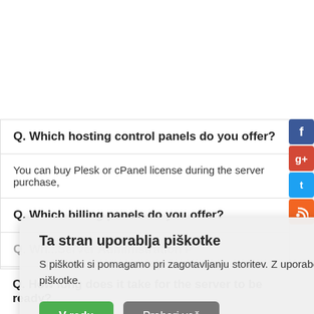Q. Which hosting control panels do you offer?
You can buy Plesk or cPanel license during the server purchase,
Q. Which billing panels do you offer?
Q. Wh... Server Administration P...
Q. Wh... ives?
Q. ... the port spee... er?
Q. How long does it take for the server to be ready?
Ta stran uporablja piškotke
S piškotki si pomagamo pri zagotavljanju storitev. Z uporabo naših storitev se strinjate, da lahko uporabljamo piškotke.